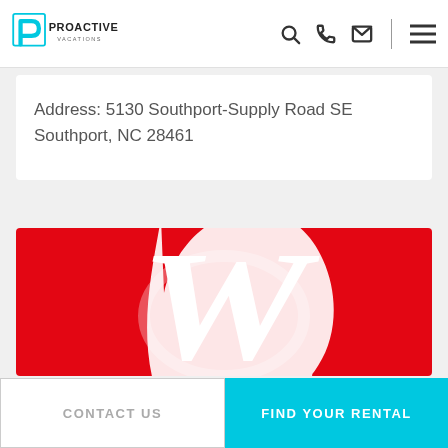[Figure (logo): Proactive Vacations logo with teal P icon and navigation icons (search, phone, email, hamburger menu)]
Address: 5130 Southport-Supply Road SE Southport, NC 28461
[Figure (logo): Walgreens logo – large red background with white scripted W/swirl mark]
CONTACT US
FIND YOUR RENTAL